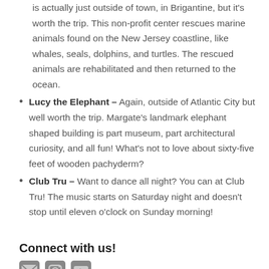is actually just outside of town, in Brigantine, but it's worth the trip. This non-profit center rescues marine animals found on the New Jersey coastline, like whales, seals, dolphins, and turtles. The rescued animals are rehabilitated and then returned to the ocean.
Lucy the Elephant – Again, outside of Atlantic City but well worth the trip. Margate's landmark elephant shaped building is part museum, part architectural curiosity, and all fun! What's not to love about sixty-five feet of wooden pachyderm?
Club Tru – Want to dance all night? You can at Club Tru! The music starts on Saturday night and doesn't stop until eleven o'clock on Sunday morning!
Connect with us!
[Figure (illustration): Three social media icon buttons (email/envelope, Instagram, YouTube or similar)]